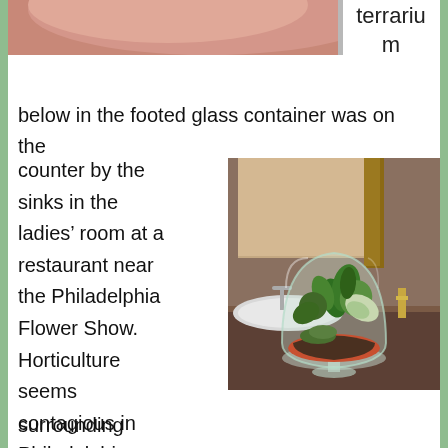[Figure (photo): Partial view of a pink/salmon colored plate or bowl at the top of the page, cropped]
terrarium
below in the footed glass container was on the counter by the sinks in the ladies’ room at a restaurant near the Philadelphia Flower Show. Horticulture seems contagious in Philadelphia– whether in the Convention Center or in surrounding
[Figure (photo): A terrarium in a large footed glass bowl/vase containing green plants, moss, and orange/red stones, sitting on a dark granite counter with a bathroom sink and mirror visible in the background]